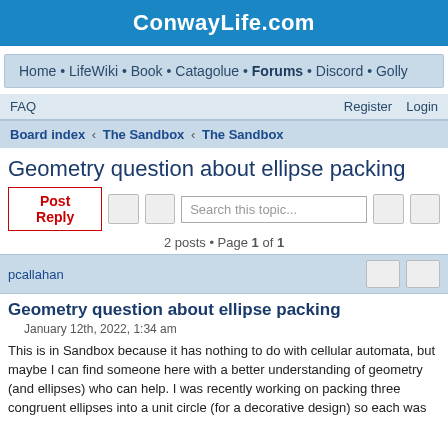ConwayLife.com
Home • LifeWiki • Book • Catagolue • Forums • Discord • Golly
FAQ   Register   Login
Board index ‹ The Sandbox ‹ The Sandbox
Geometry question about ellipse packing
2 posts • Page 1 of 1
pcallahan
Geometry question about ellipse packing
January 12th, 2022, 1:34 am
This is in Sandbox because it has nothing to do with cellular automata, but maybe I can find someone here with a better understanding of geometry (and ellipses) who can help. I was recently working on packing three congruent ellipses into a unit circle (for a decorative design) so each was